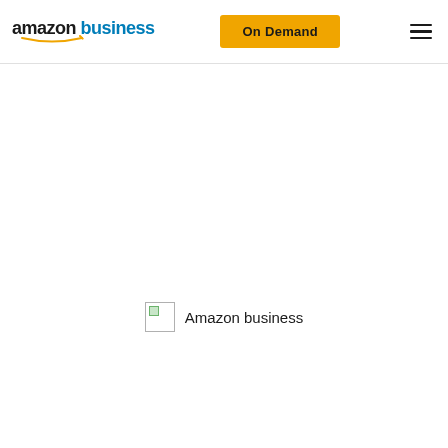amazon business | On Demand
[Figure (logo): Amazon business logo with broken image placeholder and text 'Amazon business']